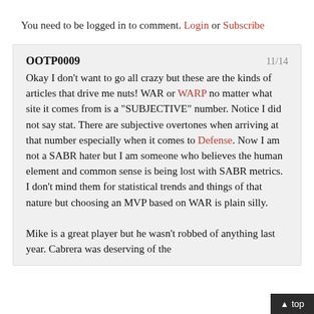You need to be logged in to comment. Login or Subscribe
OOTP0009
11/14
Okay I don't want to go all crazy but these are the kinds of articles that drive me nuts! WAR or WARP no matter what site it comes from is a "SUBJECTIVE" number. Notice I did not say stat. There are subjective overtones when arriving at that number especially when it comes to Defense. Now I am not a SABR hater but I am someone who believes the human element and common sense is being lost with SABR metrics. I don't mind them for statistical trends and things of that nature but choosing an MVP based on WAR is plain silly.

Mike is a great player but he wasn't robbed of anything last year. Cabrera was deserving of the
^ top